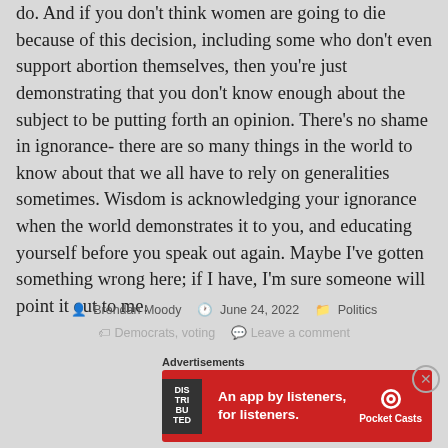do. And if you don't think women are going to die because of this decision, including some who don't even support abortion themselves, then you're just demonstrating that you don't know enough about the subject to be putting forth an opinion. There's no shame in ignorance- there are so many things in the world to know about that we all have to rely on generalities sometimes. Wisdom is acknowledging your ignorance when the world demonstrates it to you, and educating yourself before you speak out again. Maybe I've gotten something wrong here; if I have, I'm sure someone will point it out to me.
Brendan Moody  June 24, 2022  Politics
Democrats, voting  Leave a comment
Advertisements
[Figure (infographic): Red advertisement banner for Pocket Casts app. Text reads 'An app by listeners, for listeners.' with Pocket Casts logo on right and a dark phone graphic in the middle.]